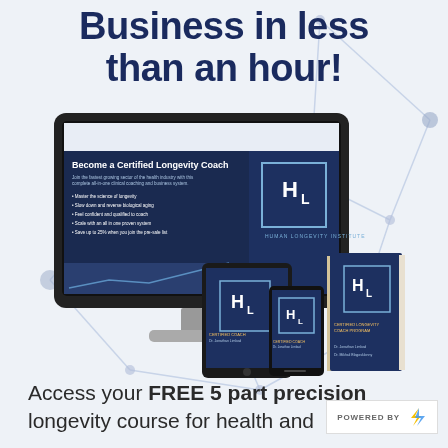Business in less than an hour!
[Figure (illustration): A desktop iMac-style monitor displaying a 'Become a Certified Longevity Coach' course page with the Human Longevity Institute (HL) logo on screen. In front of the monitor are a tablet and smartphone also showing the HL logo, plus a physical book with HL branding.]
Access your FREE 5 part precision longevity course for health and
[Figure (logo): POWERED BY Z (Zap logo with blue and yellow lightning bolt)]